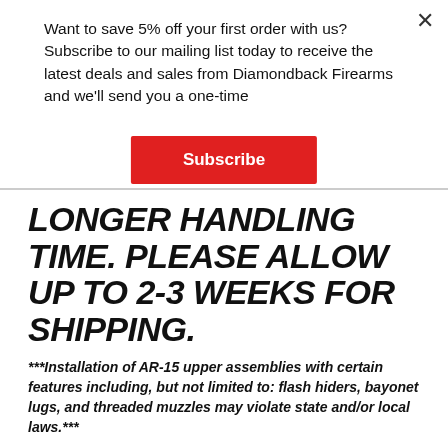Want to save 5% off your first order with us? Subscribe to our mailing list today to receive the latest deals and sales from Diamondback Firearms and we'll send you a one-time
Subscribe
LONGER HANDLING TIME. PLEASE ALLOW UP TO 2-3 WEEKS FOR SHIPPING.
***Installation of AR-15 upper assemblies with certain features including, but not limited to: flash hiders, bayonet lugs, and threaded muzzles may violate state and/or local laws.***
NOTE: Prices, specifications and availability are subject to change without notice. We reserve the right to correct typographic, photographic and/or